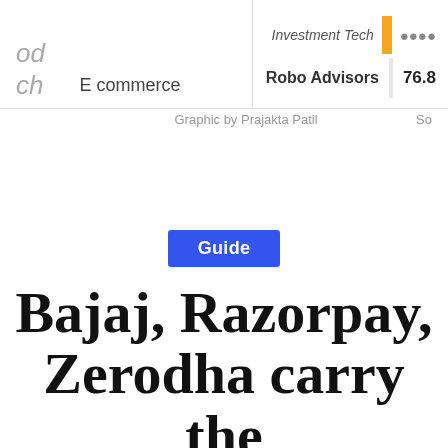E commerce
Robo Advisors   76.8
Graphic by Prajakta Patil   So
Guide
Bajaj, Razorpay, Zerodha carry the Indian fintech torch